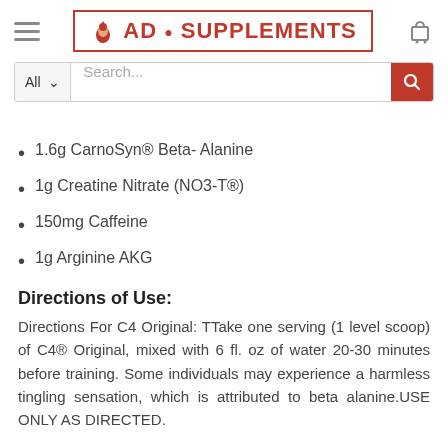AD SUPPLEMENTS (logo and search bar)
1.6g CarnoSyn® Beta- Alanine
1g Creatine Nitrate (NO3-T®)
150mg Caffeine
1g Arginine AKG
Directions of Use:
Directions For C4 Original: TTake one serving (1 level scoop) of C4® Original, mixed with 6 fl. oz of water 20-30 minutes before training. Some individuals may experience a harmless tingling sensation, which is attributed to beta alanine.USE ONLY AS DIRECTED.